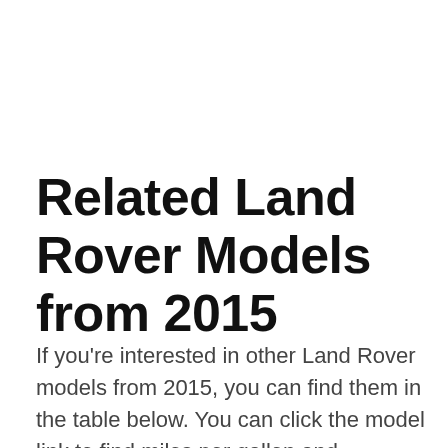Related Land Rover Models from 2015
If you're interested in other Land Rover models from 2015, you can find them in the table below. You can click the model link to find miles per gallon and emission information for that model.